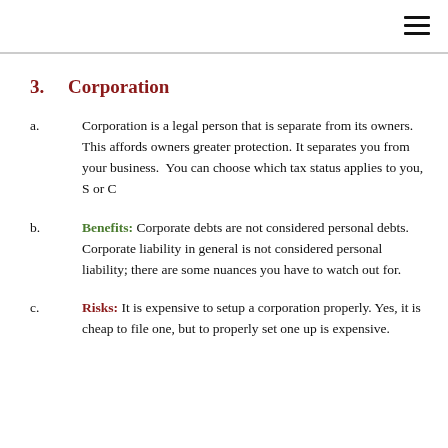3.   Corporation
a.    Corporation is a legal person that is separate from its owners. This affords owners greater protection. It separates you from your business.  You can choose which tax status applies to you, S or C
b.    Benefits: Corporate debts are not considered personal debts. Corporate liability in general is not considered personal liability; there are some nuances you have to watch out for.
c.    Risks: It is expensive to setup a corporation properly. Yes, it is cheap to file one, but to properly set one up is expensive.